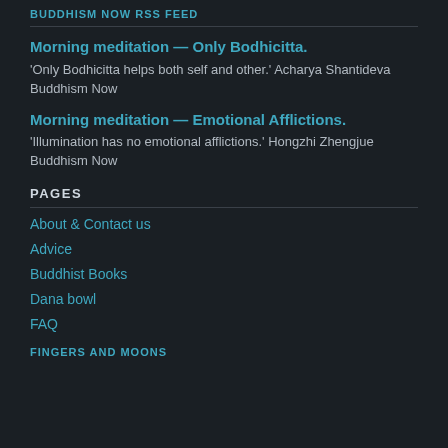BUDDHISM NOW RSS FEED
Morning meditation — Only Bodhicitta.
'Only Bodhicitta helps both self and other.' Acharya Shantideva
Buddhism Now
Morning meditation — Emotional Afflictions.
'Illumination has no emotional afflictions.' Hongzhi Zhengjue
Buddhism Now
PAGES
About & Contact us
Advice
Buddhist Books
Dana bowl
FAQ
FINGERS AND MOONS